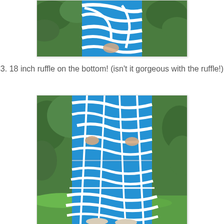[Figure (photo): Top portion of a person wearing a blue and white zebra-stripe patterned dress, cropped at mid-torso, with green foliage in background]
3. 18 inch ruffle on the bottom! (isn't it gorgeous with the ruffle!)
[Figure (photo): Full lower body shot of a person wearing a long blue and white zebra-stripe patterned maxi dress with a large ruffle at the bottom, standing on green grass with foliage behind]